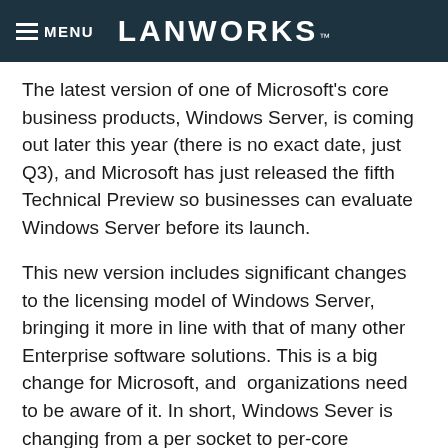MENU LANWORKS™
The latest version of one of Microsoft's core business products, Windows Server, is coming out later this year (there is no exact date, just Q3), and Microsoft has just released the fifth Technical Preview so businesses can evaluate Windows Server before its launch.
This new version includes significant changes to the licensing model of Windows Server, bringing it more in line with that of many other Enterprise software solutions. This is a big change for Microsoft, and organizations need to be aware of it. In short, Windows Sever is changing from a per socket to per-core licensing model.